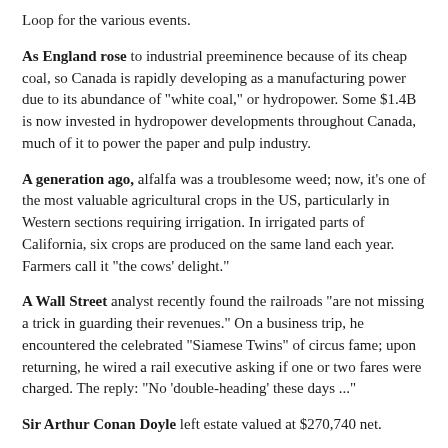Loop for the various events.
As England rose to industrial preeminence because of its cheap coal, so Canada is rapidly developing as a manufacturing power due to its abundance of "white coal," or hydropower. Some $1.4B is now invested in hydropower developments throughout Canada, much of it to power the paper and pulp industry.
A generation ago, alfalfa was a troublesome weed; now, it's one of the most valuable agricultural crops in the US, particularly in Western sections requiring irrigation. In irrigated parts of California, six crops are produced on the same land each year. Farmers call it "the cows' delight."
A Wall Street analyst recently found the railroads "are not missing a trick in guarding their revenues." On a business trip, he encountered the celebrated "Siamese Twins" of circus fame; upon returning, he wired a rail executive asking if one or two fares were charged. The reply: "No 'double-heading' these days ..."
Sir Arthur Conan Doyle left estate valued at $270,740 net.
Market commentary: